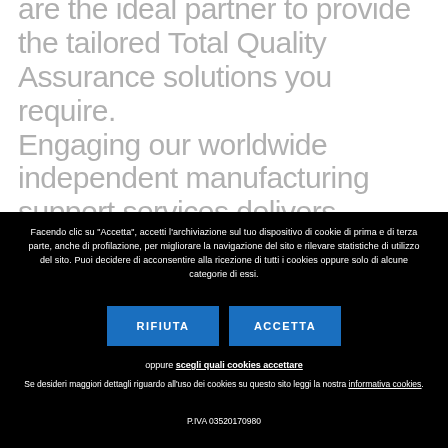are the ideal partner to provide the tailored Total Quality Assurance solutions you require. Engaging our worldwide independent manufacturing support services delivers confidence and peace of mind that your business is doing its utmost to provide
Facendo clic su "Accetta", accetti l'archiviazione sul tuo dispositivo di cookie di prima e di terza parte, anche di profilazione, per migliorare la navigazione del sito e rilevare statistiche di utilizzo del sito. Puoi decidere di acconsentire alla ricezione di tutti i cookies oppure solo di alcune categorie di essi.
RIFIUTA
ACCETTA
oppure scegli quali cookies accettare
Se desideri maggiori dettagli riguardo all'uso dei cookies su questo sito leggi la nostra informativa cookies.
P.IVA 03520170980